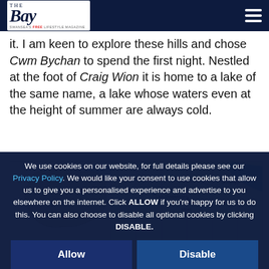The Bay — Swansea's free lifestyle magazine
it. I am keen to explore these hills and chose Cwm Bychan to spend the first night. Nestled at the foot of Craig Wion it is home to a lake of the same name, a lake whose waters even at the height of summer are always cold.
[Figure (map): Map showing location including Llyn Dywarchen, Moel Ysgetfamoged, Harlech, Penrhyndeudraeth, Chesire, and Llyn Duwyffyd]
We use cookies on our website, for full details please see our Privacy Policy. We would like your consent to use cookies that allow us to give you a personalised experience and advertise to you elsewhere on the internet. Click ALLOW if you're happy for us to do this. You can also choose to disable all optional cookies by clicking DISABLE.
Allow
Disable